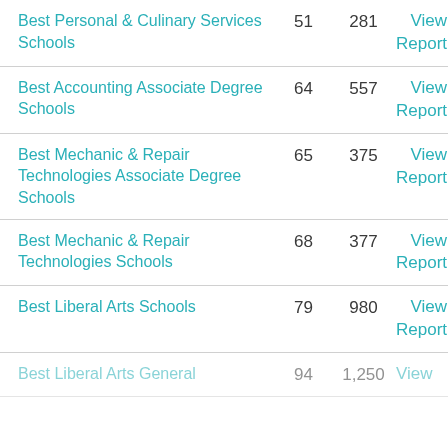| School Category | Rank | Count | Action |
| --- | --- | --- | --- |
| Best Personal & Culinary Services Schools | 51 | 281 | View Report |
| Best Accounting Associate Degree Schools | 64 | 557 | View Report |
| Best Mechanic & Repair Technologies Associate Degree Schools | 65 | 375 | View Report |
| Best Mechanic & Repair Technologies Schools | 68 | 377 | View Report |
| Best Liberal Arts Schools | 79 | 980 | View Report |
| Best Liberal Arts General ... | 94 | 1,250 | View ... |